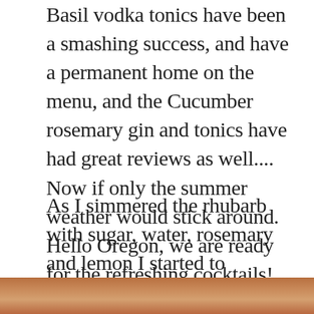Basil vodka tonics have been a smashing success, and have a permanent home on the menu, and the Cucumber rosemary gin and tonics have had great reviews as well.... Now if only the summer weather would stick around. Hello Oregon, we are ready for the refreshing cocktails!
As I simmered the rhubarb with sugar, water, rosemary and lemon I started to scheme all the tasty things I could do with the concoction. My immediate thought was of course the gin and tonic (because it sounds delicious, right?) but there was also a bottle of Prosecco in my fridge staring me down, and what better to pair with a bit of bubbles than a wonderfully pink and herbaceous syrup? (I'm actually drinking this right now, hello-wine Wednesday! its fabulous. I don't usually drink in the middle of the day, but I had to take some photos for this post, and when in Rome/ when it is your weekend you drink the rhubarb rosemary bubbles for lunch).
[Figure (photo): Bottom strip showing a partial photo, brownish-orange tones, likely a food or drink photograph]